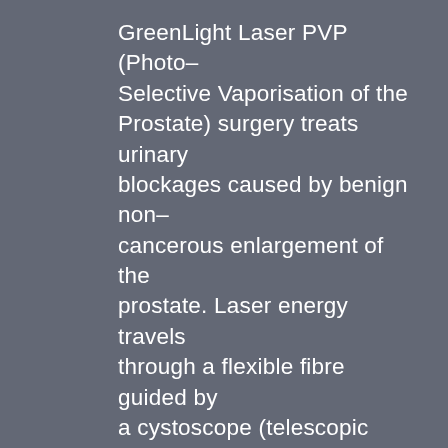GreenLight Laser PVP (Photo–Selective Vaporisation of the Prostate) surgery treats urinary blockages caused by benign non–cancerous enlargement of the prostate. Laser energy travels through a flexible fibre guided by a cystoscope (telescopic camera) to vaporise the affected portion of the prostate.